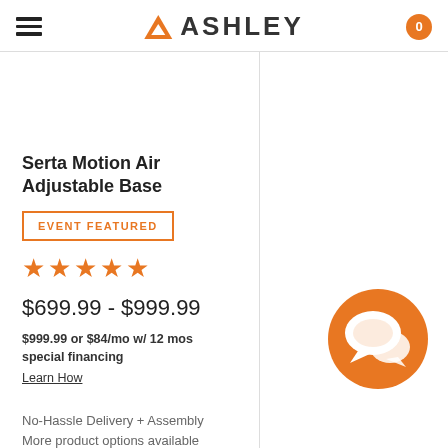Ashley
Serta Motion Air Adjustable Base
EVENT FEATURED
[Figure (other): Five orange star rating icons]
$699.99 - $999.99
$999.99 or $84/mo w/ 12 mos special financing
Learn How
No-Hassle Delivery + Assembly
More product options available
[Figure (illustration): Orange circle with white chat/speech bubble icon]